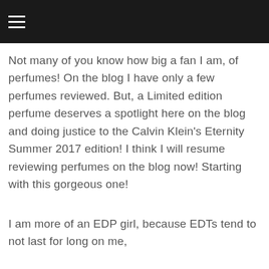≡
Not many of you know how big a fan I am, of perfumes! On the blog I have only a few perfumes reviewed. But, a Limited edition perfume deserves a spotlight here on the blog and doing justice to the Calvin Klein's Eternity Summer 2017 edition! I think I will resume reviewing perfumes on the blog now! Starting with this gorgeous one!
I am more of an EDP girl, because EDTs tend to not last for long on me,